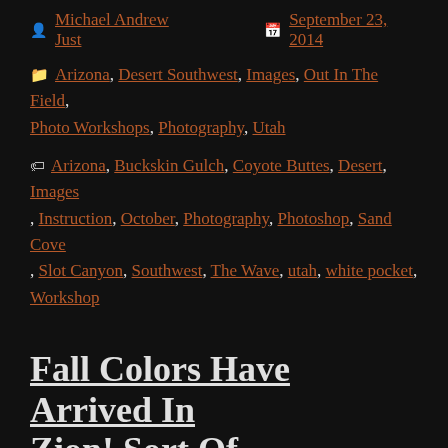Michael Andrew Just   September 23, 2014
Categories: Arizona, Desert Southwest, Images, Out In The Field, Photo Workshops, Photography, Utah
Tags: Arizona, Buckskin Gulch, Coyote Buttes, Desert, Images, Instruction, October, Photography, Photoshop, Sand Cove, Slot Canyon, Southwest, The Wave, utah, white pocket, Workshop
Fall Colors Have Arrived In Zion! Sort Of
At the upper elevations (8,000 feet) in and around Zion National Park where the aspen trees grow, the leaves have not changed